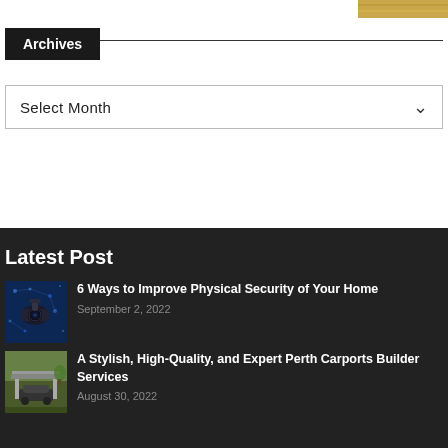[Figure (photo): Partial image of golden/wooden textured object at top right corner]
Archives
Select Month
Latest Post
[Figure (photo): Security camera with blue digital network background]
6 Ways to Improve Physical Security of Your Home
September 2, 2022
[Figure (photo): Carport structure with car underneath and trees in background]
A Stylish, High-Quality, and Expert Perth Carports Builder Services
August 30, 2022